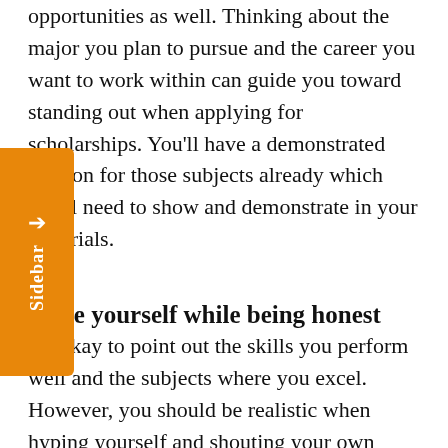opportunities as well. Thinking about the major you plan to pursue and the career you want to work within can guide you toward standing out when applying for scholarships. You'll have a demonstrated passion for those subjects already which you'll need to show and demonstrate in your materials.
Hype yourself while being honest
It's okay to point out the skills you perform well and the subjects where you excel. However, you should be realistic when hyping yourself and shouting your own praises. Letters of recommendation are a great way to get support for your own assertions about